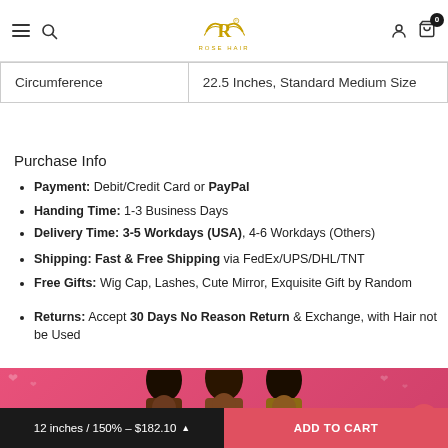Rose Hair navigation bar with logo, search, account, and cart (0)
|  |  |
| --- | --- |
| Circumference | 22.5 Inches, Standard Medium Size |
Purchase Info
Payment: Debit/Credit Card or PayPal
Handing Time: 1-3 Business Days
Delivery Time: 3-5 Workdays (USA), 4-6 Workdays (Others)
Shipping: Fast & Free Shipping via FedEx/UPS/DHL/TNT
Free Gifts: Wig Cap, Lashes, Cute Mirror, Exquisite Gift by Random
Returns: Accept 30 Days No Reason Return & Exchange, with Hair not be Used
[Figure (photo): Pink promotional banner with three women models showing hair styles]
12 inches / 150% – $182.10   ADD TO CART